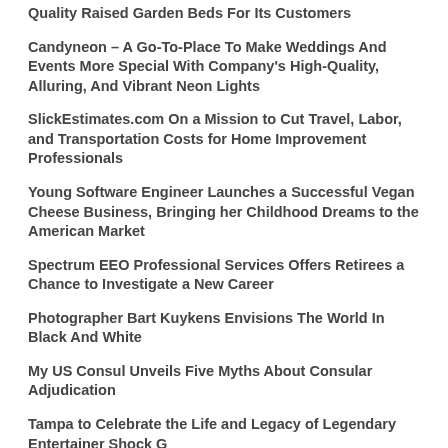Quality Raised Garden Beds For Its Customers
Candyneon – A Go-To-Place To Make Weddings And Events More Special With Company's High-Quality, Alluring, And Vibrant Neon Lights
SlickEstimates.com On a Mission to Cut Travel, Labor, and Transportation Costs for Home Improvement Professionals
Young Software Engineer Launches a Successful Vegan Cheese Business, Bringing her Childhood Dreams to the American Market
Spectrum EEO Professional Services Offers Retirees a Chance to Investigate a New Career
Photographer Bart Kuykens Envisions The World In Black And White
My US Consul Unveils Five Myths About Consular Adjudication
Tampa to Celebrate the Life and Legacy of Legendary Entertainer Shock G
Contini Solutions Led By Former Broward Judge John